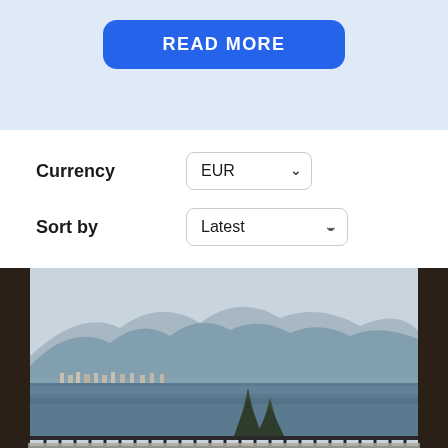[Figure (screenshot): Blue 'READ MORE' button on light blue background]
Currency
[Figure (screenshot): Currency dropdown selector showing 'EUR']
Sort by
[Figure (screenshot): Sort by dropdown selector showing 'Latest']
[Figure (photo): View from a balcony showing a lake with a town on the opposite shore, mountains behind, evergreen trees in the foreground, a round white table and chairs on the snowy balcony. Dark metal railing frames the scene.]